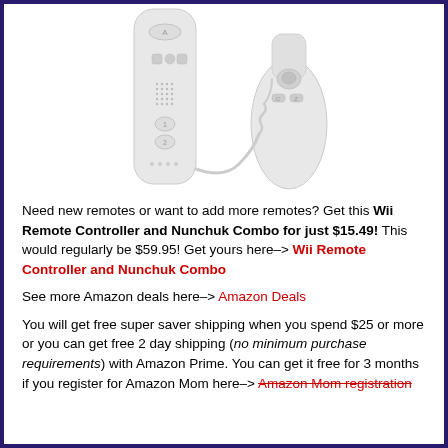[Figure (photo): Wii Remote Controller (white) on the left and Nunchuk controller (white) on the right, connected by a cable, on a white background.]
Need new remotes or want to add more remotes?  Get this Wii Remote Controller and Nunchuk Combo for just $15.49!  This would regularly be $59.95!  Get yours here–> Wii Remote Controller and Nunchuk Combo
See more Amazon deals here–> Amazon Deals
You will get free super saver shipping when you spend $25 or more or you can get free 2 day shipping (no minimum purchase requirements) with Amazon Prime.  You can get it free for 3 months if you register for Amazon Mom here–> Amazon Mom registration